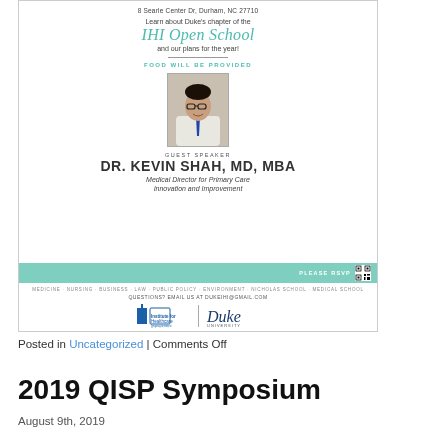[Figure (infographic): Event flyer for Duke IHI Open School chapter meeting. Shows address '8 Searle Center Dr, Durham, NC 27710', text about learning about Duke's chapter of the IHI Open School and plans for the year, 'FOOD WILL BE PROVIDED', a headshot photo of guest speaker Dr. Kevin Shah MD MBA, Medical Director for Primary Care Innovation and Improvement, a green RSVP banner with QR code, school names row, questions email, and IHI/Duke University logos at the bottom.]
Posted in Uncategorized | Comments Off
2019 QISP Symposium
August 9th, 2019